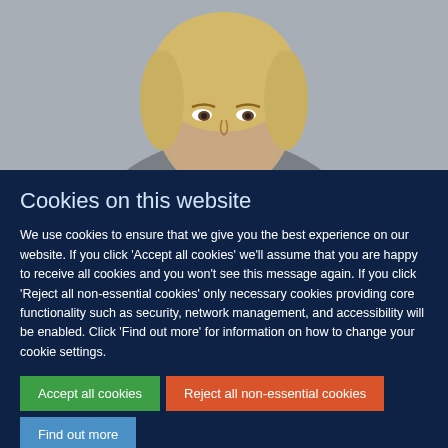[Figure (photo): Partial photo of a blonde woman against a grey background, cropped at the top portion of the page]
Cookies on this website
We use cookies to ensure that we give you the best experience on our website. If you click 'Accept all cookies' we'll assume that you are happy to receive all cookies and you won't see this message again. If you click 'Reject all non-essential cookies' only necessary cookies providing core functionality such as security, network management, and accessibility will be enabled. Click 'Find out more' for information on how to change your cookie settings.
Accept all cookies
Reject all non-essential cookies
Find out more